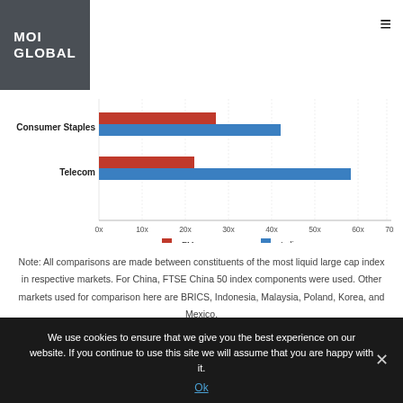[Figure (logo): MOI GLOBAL logo on dark gray background]
[Figure (grouped-bar-chart): ]
Note: All comparisons are made between constituents of the most liquid large cap index in respective markets. For China, FTSE China 50 index components were used. Other markets used for comparison here are BRICS, Indonesia, Malaysia, Poland, Korea, and Mexico.
We use cookies to ensure that we give you the best experience on our website. If you continue to use this site we will assume that you are happy with it.